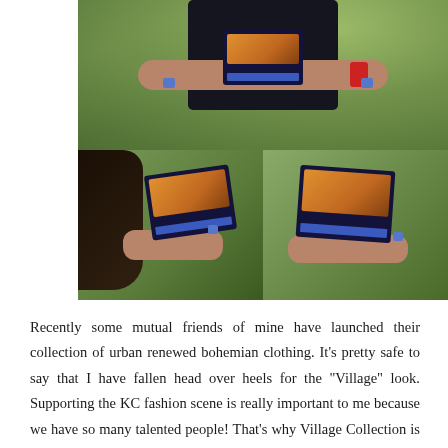[Figure (photo): A photo collage of three images showing a person in a dark t-shirt holding a small printed card/booklet with blue nail polish and red bracelets visible. Bottom left shows a close-up of hands holding an open card/booklet from behind a person with dark hair and a pink bracelet. Bottom right shows a close-up of hands holding an open card/booklet with blue nail polish.]
Recently some mutual friends of mine have launched their collection of urban renewed bohemian clothing. It's pretty safe to say that I have fallen head over heels for the "Village" look. Supporting the KC fashion scene is really important to me because we have so many talented people! That's why Village Collection is so great is because they are a group of many people like: designers, stylists, musicians, photographers, makeup/hair artists, etc who all joined forces to help create a rad project. Courtney & Caleb